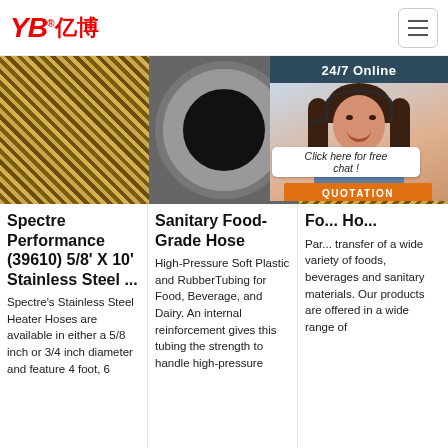YB亿博 [logo] | hamburger menu
[Figure (photo): Three-panel image row: left shows close-up of braided stainless steel hose texture (gold/brown weave), center shows end-on view of large rubber hose held in hand against dark background, right shows more braided hose texture. An overlay panel on the right shows '24/7 Online' banner with a customer service agent wearing a headset, a 'Click here for free chat!' speech bubble, and an orange QUOTATION button.]
Spectre Performance (39610) 5/8' X 10' Stainless Steel ...
Sanitary Food-Grade Hose
Fo... Ho...
Spectre's Stainless Steel Heater Hoses are available in either a 5/8 inch or 3/4 inch diameter and feature 4 foot, 6
High-Pressure Soft Plastic and RubberTubing for Food, Beverage, and Dairy. An internal reinforcement gives this tubing the strength to handle high-pressure
Par... transfer of a wide variety of foods, beverages and sanitary materials. Our products are offered in a wide range of